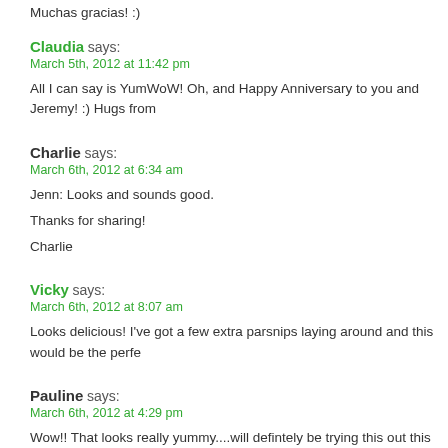Muchas gracias! :)
Claudia says:
March 5th, 2012 at 11:42 pm
All I can say is YumWoW! Oh, and Happy Anniversary to you and Jeremy! :) Hugs from
Charlie says:
March 6th, 2012 at 6:34 am
Jenn: Looks and sounds good.
Thanks for sharing!
Charlie
Vicky says:
March 6th, 2012 at 8:07 am
Looks delicious! I've got a few extra parsnips laying around and this would be the perfe
Pauline says:
March 6th, 2012 at 4:29 pm
Wow!! That looks really yummy....will defintely be trying this out this week end. Thanks f